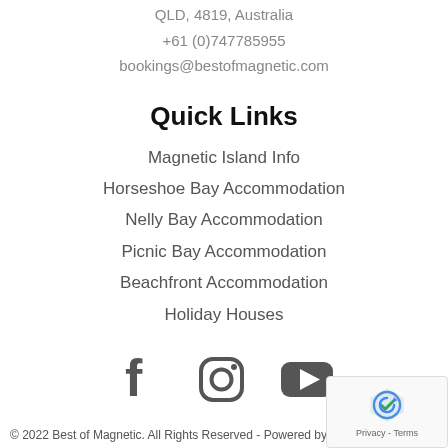QLD, 4819, Australia
+61 (0)747785955
bookings@bestofmagnetic.com
Quick Links
Magnetic Island Info
Horseshoe Bay Accommodation
Nelly Bay Accommodation
Picnic Bay Accommodation
Beachfront Accommodation
Holiday Houses
[Figure (illustration): Social media icons: Facebook, Instagram, YouTube]
© 2022 Best of Magnetic. All Rights Reserved - Powered by H